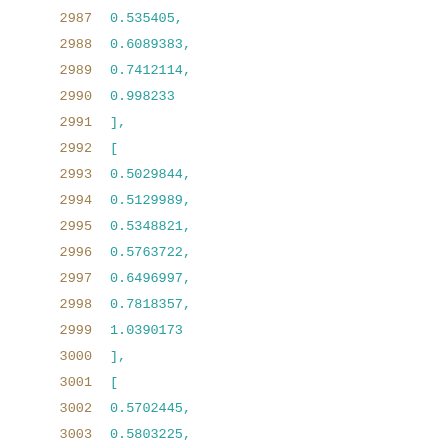2987    0.535405,
2988    0.6089383,
2989    0.7412114,
2990    0.998233
2991    ],
2992    [
2993    0.5029844,
2994    0.5129989,
2995    0.5348821,
2996    0.5763722,
2997    0.6496997,
2998    0.7818357,
2999    1.0390173
3000    ],
3001    [
3002    0.5702445,
3003    0.5803225,
3004    0.6021999,
3005    0.6436711,
3006    0.7170836,
3007    0.8493588,